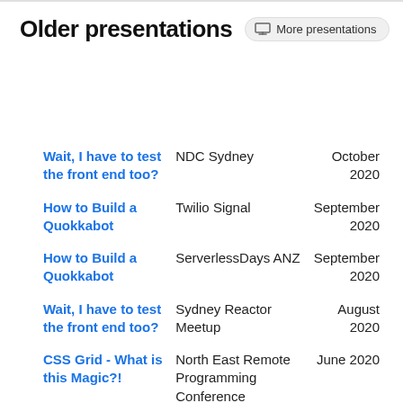Older presentations
| Presentation | Event | Date |
| --- | --- | --- |
| Wait, I have to test the front end too? | NDC Sydney | October 2020 |
| How to Build a Quokkabot | Twilio Signal | September 2020 |
| How to Build a Quokkabot | ServerlessDays ANZ | September 2020 |
| Wait, I have to test the front end too? | Sydney Reactor Meetup | August 2020 |
| CSS Grid - What is this Magic?! | North East Remote Programming Conference | June 2020 |
| How to Build an Inaccessible App | NDC Oslo | June 2020 |
| Where would you ... | Microsoft Build | May 2020 |